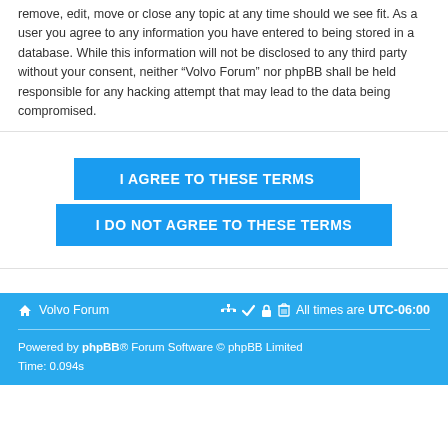remove, edit, move or close any topic at any time should we see fit. As a user you agree to any information you have entered to being stored in a database. While this information will not be disclosed to any third party without your consent, neither “Volvo Forum” nor phpBB shall be held responsible for any hacking attempt that may lead to the data being compromised.
[Figure (other): Two blue buttons: 'I AGREE TO THESE TERMS' and 'I DO NOT AGREE TO THESE TERMS']
Volvo Forum  All times are UTC-06:00  Powered by phpBB® Forum Software © phpBB Limited  Time: 0.094s